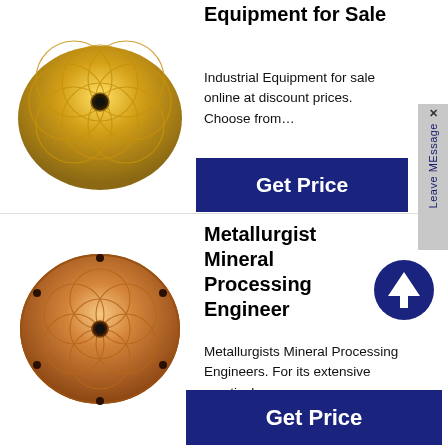[Figure (photo): Golden metallic dome-shaped object with overlapping circular petal patterns and a hole in the center, viewed from above]
Equipment for Sale
Industrial Equipment for sale online at discount prices. Choose from…
[Figure (other): Dark blue sidebar tab with X button and text 'Leave MEssage' written vertically]
[Figure (other): Blue Get Price button]
[Figure (photo): Copper/bronze circular disc with flower-of-life engraved pattern, small holes around the perimeter, and a threaded center hole]
Metallurgist Mineral Processing Engineer
[Figure (other): Dark blue circle with white upward arrow icon]
Metallurgists Mineral Processing Engineers. For its extensive practical…
[Figure (other): Dark blue Get Price button]